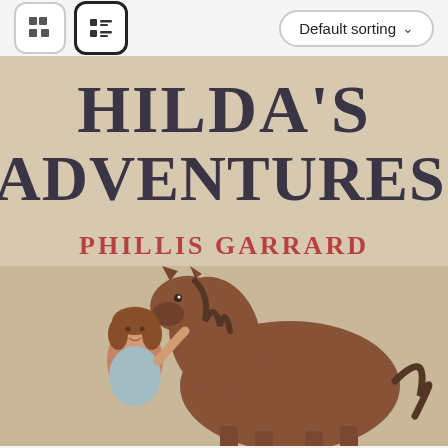[Figure (screenshot): Toolbar with grid view icon, list view icon (active/selected), and Default sorting dropdown button]
[Figure (photo): Book cover of 'Hilda's Adventures' by Phillis Garrard. The cover shows large bold dark text 'HILDA'S ADVENTURES' at the top, author name 'PHILLIS GARRARD' in red/terracotta lettering below, and an illustration at the bottom of a girl with a horse against a beige/tan background.]